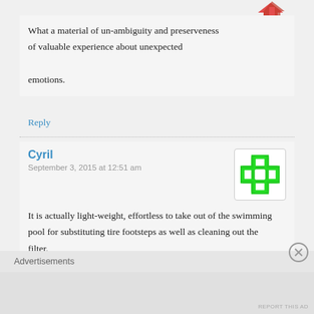[Figure (illustration): Partial red/orange arrow or icon at top right, partially cropped]
What a material of un-ambiguity and preserveness of valuable experience about unexpected emotions.
Reply
Cyril
September 3, 2015 at 12:51 am
[Figure (illustration): Green plus/cross medical icon on white background with border]
It is actually light-weight, effortless to take out of the swimming pool for substituting tire footsteps as well as cleaning out the filter.
Advertisements
[Figure (illustration): Circle X close/report ad button]
REPORT THIS AD